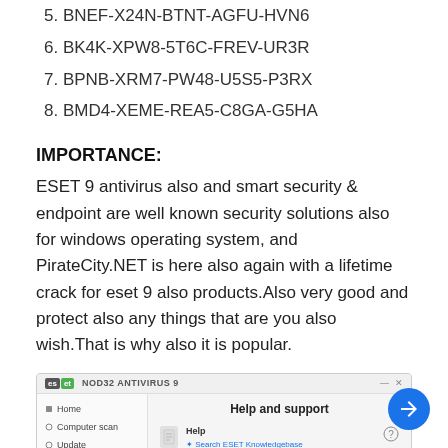5. BNEF-X24N-BTNT-AGFU-HVN6
6. BK4K-XPW8-5T6C-FREV-UR3R
7. BPNB-XRM7-PW48-U5S5-P3RX
8. BMD4-XEME-REA5-C8GA-G5HA
IMPORTANCE:
ESET 9 antivirus also and smart security & endpoint are well known security solutions also for windows operating system, and PirateCity.NET is here also again with a lifetime crack for eset 9 also products.Also very good and protect also any things that are you also wish.That is why also it is popular.
[Figure (screenshot): ESET NOD32 ANTIVIRUS 9 application window showing Help and support screen with sidebar menu items: Home, Computer scan, Update, Tools and main content area showing Help section with links: Search ESET Knowledgebase, Open help, Find quick solution]